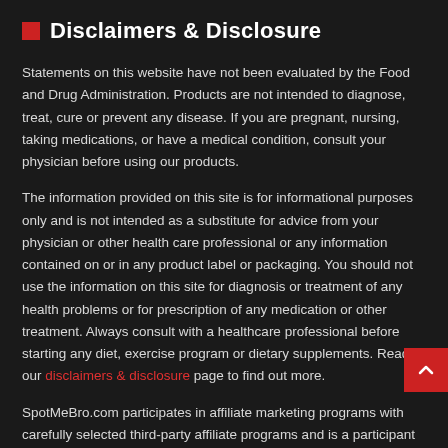Disclaimers & Disclosure
Statements on this website have not been evaluated by the Food and Drug Administration. Products are not intended to diagnose, treat, cure or prevent any disease. If you are pregnant, nursing, taking medications, or have a medical condition, consult your physician before using our products.
The information provided on this site is for informational purposes only and is not intended as a substitute for advice from your physician or other health care professional or any information contained on or in any product label or packaging. You should not use the information on this site for diagnosis or treatment of any health problems or for prescription of any medication or other treatment. Always consult with a healthcare professional before starting any diet, exercise program or dietary supplements. Read our disclaimers & disclosure page to find out more.
SpotMeBro.com participates in affiliate marketing programs with carefully selected third-party affiliate programs and is a participant in the Amazon